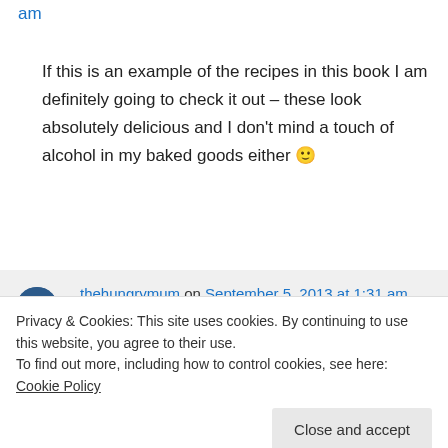am
If this is an example of the recipes in this book I am definitely going to check it out – these look absolutely delicious and I don't mind a touch of alcohol in my baked goods either 🙂
↪ Reply
thehungrymum on September 5, 2013 at 1:31 am
Privacy & Cookies: This site uses cookies. By continuing to use this website, you agree to their use.
To find out more, including how to control cookies, see here: Cookie Policy
Close and accept